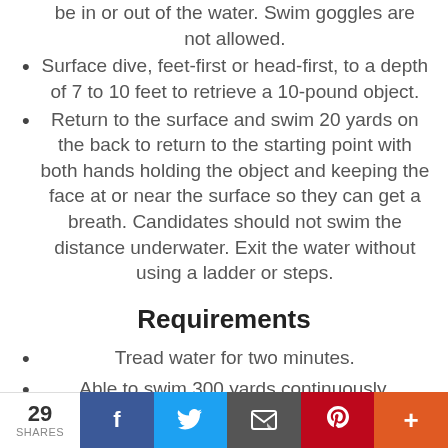be in or out of the water. Swim goggles are not allowed.
Surface dive, feet-first or head-first, to a depth of 7 to 10 feet to retrieve a 10-pound object.
Return to the surface and swim 20 yards on the back to return to the starting point with both hands holding the object and keeping the face at or near the surface so they can get a breath. Candidates should not swim the distance underwater. Exit the water without using a ladder or steps.
Requirements
Tread water for two minutes.
Able to swim 300 yards continuously.
Able to surface dive to 8-10 feet depth of water
29 SHARES | Facebook | Twitter | Email | Pinterest | Plus